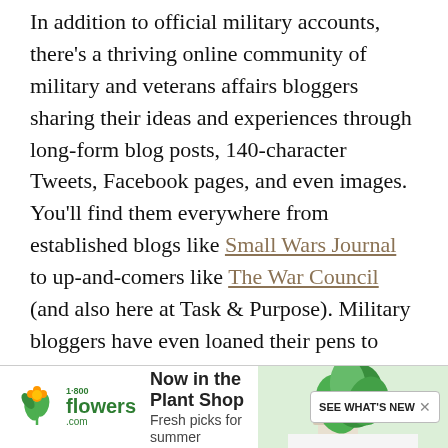In addition to official military accounts, there's a thriving online community of military and veterans affairs bloggers sharing their ideas and experiences through long-form blog posts, 140-character Tweets, Facebook pages, and even images. You'll find them everywhere from established blogs like Small Wars Journal to up-and-comers like The War Council (and also here at Task & Purpose). Military bloggers have even loaned their pens to their pens to mainstream outlets like the New York Times and Foreign Policy.

Blogging is not just for aspiring geeks, either. Military and veteran affairs publications are moving more into the mainstream media as two wars come to a close
[Figure (other): 1-800-flowers.com advertisement banner: 'Now in the Plant Shop - Fresh picks for summer' with plant image and 'SEE WHAT'S NEW' button]